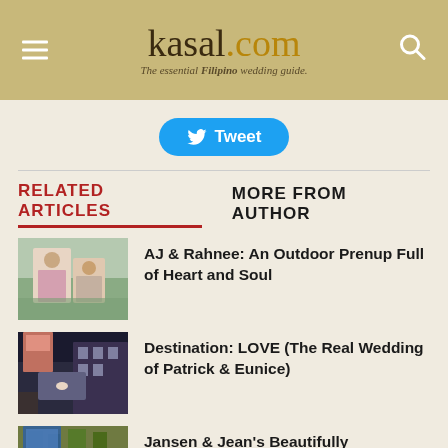kasal.com — The essential Filipino wedding guide
Tweet
RELATED ARTICLES   MORE FROM AUTHOR
[Figure (photo): Outdoor prenup photo of AJ and Rahnee in a garden setting]
AJ & Rahnee: An Outdoor Prenup Full of Heart and Soul
[Figure (photo): Wedding photo of Patrick and Eunice at a destination venue with a car and building at night]
Destination: LOVE (The Real Wedding of Patrick & Eunice)
[Figure (photo): Wedding couple photo in front of an ivy-covered brick wall]
Jansen & Jean's Beautifully Documented Intimate Wedding